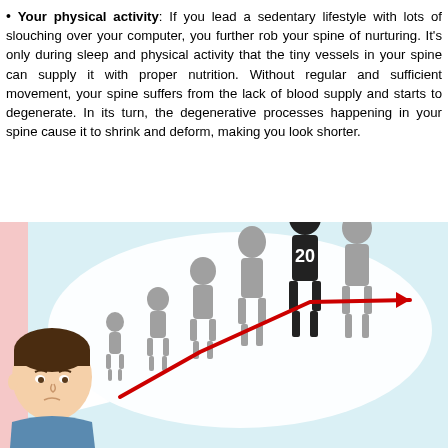Your physical activity: If you lead a sedentary lifestyle with lots of slouching over your computer, you further rob your spine of nurturing. It's only during sleep and physical activity that the tiny vessels in your spine can supply it with proper nutrition. Without regular and sufficient movement, your spine suffers from the lack of blood supply and starts to degenerate. In its turn, the degenerative processes happening in your spine cause it to shrink and deform, making you look shorter.
[Figure (illustration): Illustration showing a young man thinking (speech bubble) about human growth stages from infant to adult, with a red arrow rising then plateauing, indicating height growth over time. One adult figure is highlighted in black with the number 20.]